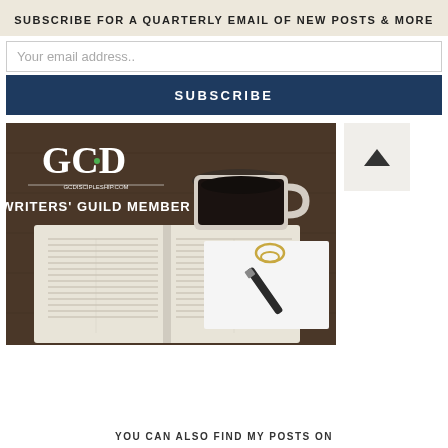SUBSCRIBE FOR A QUARTERLY EMAIL OF NEW POSTS & MORE
Your email address..
SUBSCRIBE
[Figure (illustration): GCD Discipleship website Writers' Guild Member badge image showing an open Bible, a cup of coffee, a notepad and pen on a dark wooden table, with GCD logo and text GCDISCIPLESHIP.COM and WRITERS' GUILD MEMBER]
YOU CAN ALSO FIND MY POSTS ON